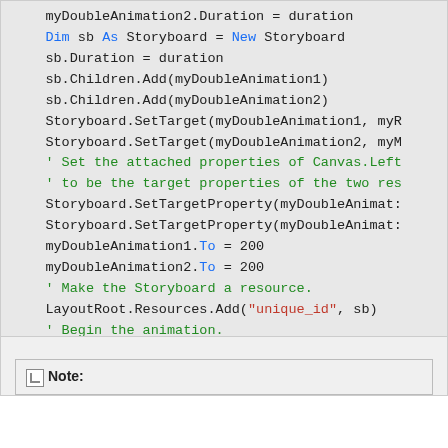myDoubleAnimation2.Duration = duration
Dim sb As Storyboard = New Storyboard
sb.Duration = duration
sb.Children.Add(myDoubleAnimation1)
sb.Children.Add(myDoubleAnimation2)
Storyboard.SetTarget(myDoubleAnimation1, myR
Storyboard.SetTarget(myDoubleAnimation2, myM
' Set the attached properties of Canvas.Left
' to be the target properties of the two res
Storyboard.SetTargetProperty(myDoubleAnimat:
Storyboard.SetTargetProperty(myDoubleAnimat:
myDoubleAnimation1.To = 200
myDoubleAnimation2.To = 200
' Make the Storyboard a resource.
LayoutRoot.Resources.Add("unique_id", sb)
' Begin the animation.
sb.Begin()
End Sub
Note: